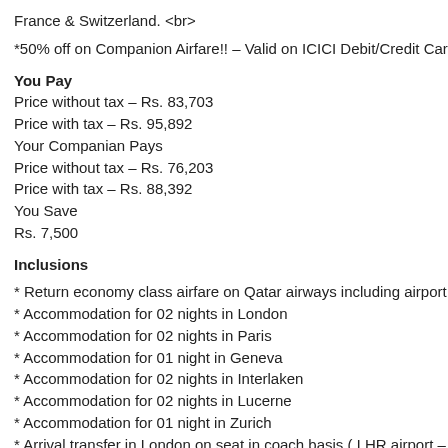France & Switzerland. <br>
*50% off on Companion Airfare!! – Valid on ICICI Debit/Credit Card Only
You Pay
Price without tax – Rs. 83,703
Price with tax – Rs. 95,892
Your Companian Pays
Price without tax – Rs. 76,203
Price with tax – Rs. 88,392
You Save
Rs. 7,500
Inclusions
* Return economy class airfare on Qatar airways including airport taxes
* Accommodation for 02 nights in London
* Accommodation for 02 nights in Paris
* Accommodation for 01 night in Geneva
* Accommodation for 02 nights in Interlaken
* Accommodation for 02 nights in Lucerne
* Accommodation for 01 night in Zurich
* Arrival transfer in London on seat in coach basis ( LHR airport – Hotel
* The original London sightseeing tour on seat in coach basis